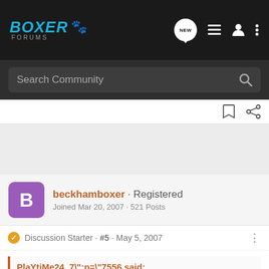Boxer Forums
Search Community
beckhamboxer · Registered
Joined Mar 20, 2007 · 521 Posts
Discussion Starter · #5 · May 5, 2007
PlaYtiMe24_7\";p=\"7556 said:
Xena never went through that when she was teething. The way i knew she was teething is that she'd chew EVERYTHING and I'd hear